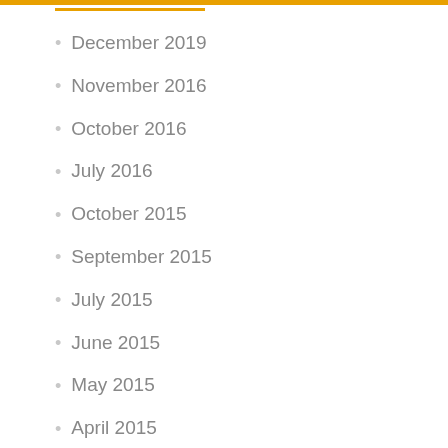December 2019
November 2016
October 2016
July 2016
October 2015
September 2015
July 2015
June 2015
May 2015
April 2015
March 2015